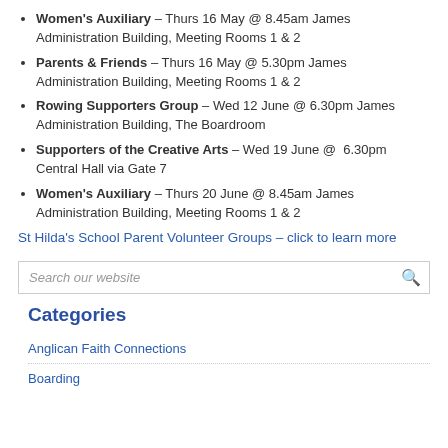Women's Auxiliary – Thurs 16 May @ 8.45am James Administration Building, Meeting Rooms 1 & 2
Parents & Friends – Thurs 16 May @ 5.30pm James Administration Building, Meeting Rooms 1 & 2
Rowing Supporters Group – Wed 12 June @ 6.30pm James Administration Building, The Boardroom
Supporters of the Creative Arts – Wed 19 June @ 6.30pm Central Hall via Gate 7
Women's Auxiliary – Thurs 20 June @ 8.45am James Administration Building, Meeting Rooms 1 & 2
St Hilda's School Parent Volunteer Groups – click to learn more
Search our website
Categories
Anglican Faith Connections
Boarding